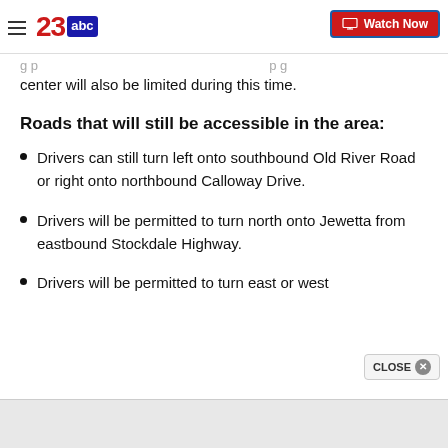23abc — Watch Now
center will also be limited during this time.
Roads that will still be accessible in the area:
Drivers can still turn left onto southbound Old River Road or right onto northbound Calloway Drive.
Drivers will be permitted to turn north onto Jewetta from eastbound Stockdale Highway.
Drivers will be permitted to turn east or west